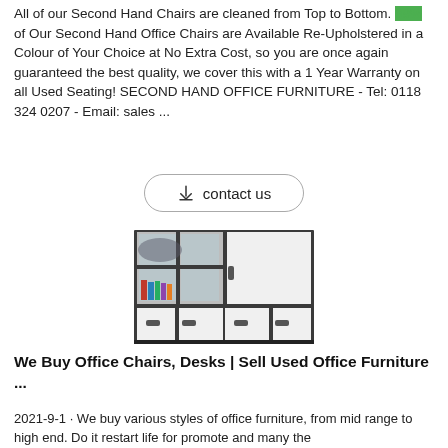All of our Second Hand Chairs are cleaned from Top to Bottom. 99% of Our Second Hand Office Chairs are Available Re-Upholstered in a Colour of Your Choice at No Extra Cost, so you are once again guaranteed the best quality, we cover this with a 1 Year Warranty on all Used Seating! SECOND HAND OFFICE FURNITURE - Tel: 0118 324 0207 - Email: sales ...
[Figure (other): Contact us button with download icon]
[Figure (photo): Office storage cabinet with glass upper doors and solid lower doors, dark frame with white panels, containing books and binders]
We Buy Office Chairs, Desks | Sell Used Office Furniture ...
2021-9-1 · We buy various styles of office furniture, from mid range to high end. Do it restart life for promote and many the